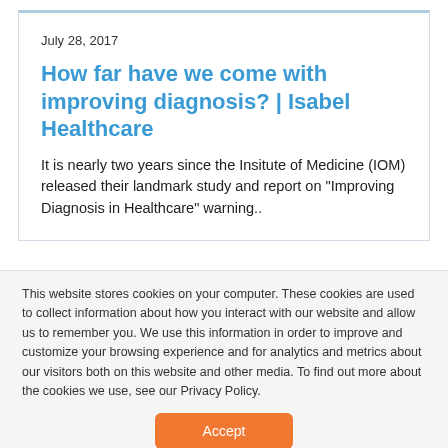July 28, 2017
How far have we come with improving diagnosis? | Isabel Healthcare
It is nearly two years since the Insitute of Medicine (IOM) released their landmark study and report on "Improving Diagnosis in Healthcare" warning..
This website stores cookies on your computer. These cookies are used to collect information about how you interact with our website and allow us to remember you. We use this information in order to improve and customize your browsing experience and for analytics and metrics about our visitors both on this website and other media. To find out more about the cookies we use, see our Privacy Policy.
Accept